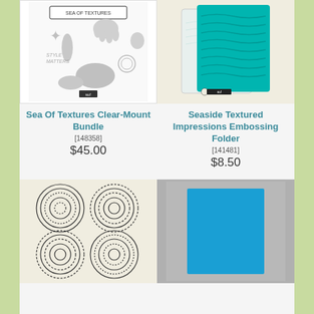[Figure (photo): Sea Of Textures Clear-Mount Bundle stamp set product photo]
[Figure (photo): Seaside Textured Impressions Embossing Folder product photo - two teal/turquoise embossing folders]
Sea Of Textures Clear-Mount Bundle
[148358]
$45.00
Seaside Textured Impressions Embossing Folder
[141481]
$8.50
[Figure (photo): Layering Circles Dies product photo - four sets of concentric circle die cut shapes on cream background]
[Figure (photo): Pool Party Cardstock product photo - bright blue cardstock sheet on gray background]